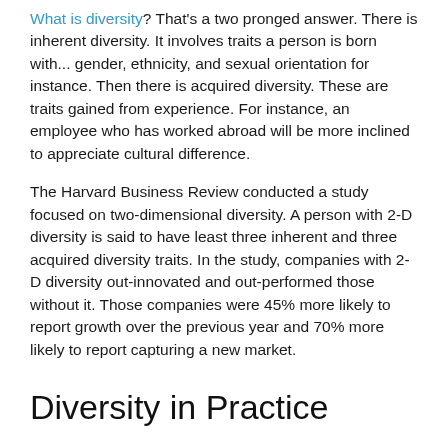What is diversity? That's a two pronged answer. There is inherent diversity. It involves traits a person is born with... gender, ethnicity, and sexual orientation for instance. Then there is acquired diversity. These are traits gained from experience. For instance, an employee who has worked abroad will be more inclined to appreciate cultural difference.
The Harvard Business Review conducted a study focused on two-dimensional diversity. A person with 2-D diversity is said to have least three inherent and three acquired diversity traits. In the study, companies with 2-D diversity out-innovated and out-performed those without it. Those companies were 45% more likely to report growth over the previous year and 70% more likely to report capturing a new market.
Diversity in Practice